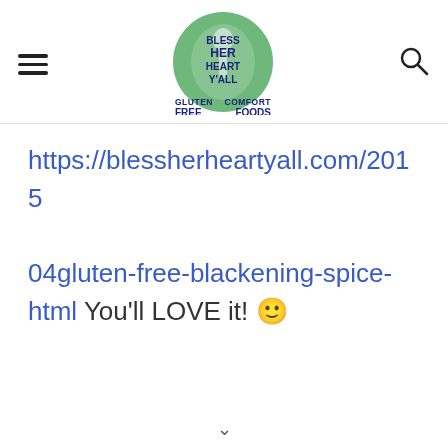Bless Her Heart Y'All – Gluten Free Comfort Foods
https://blessherheartyall.com/2015 04gluten-free-blackening-spice-html You'll LOVE it! 🙂